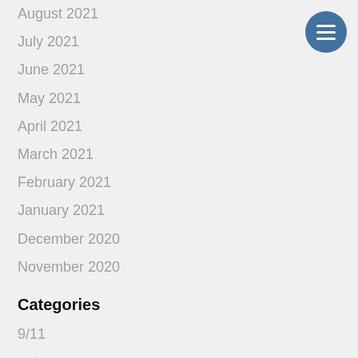August 2021
July 2021
June 2021
May 2021
April 2021
March 2021
February 2021
January 2021
December 2020
November 2020
Categories
9/11
autos
Bad Cops
Blog